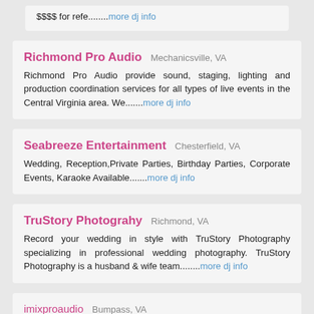$$$$  for refe........more dj info
Richmond Pro Audio  Mechanicsville, VA
Richmond Pro Audio provide sound, staging, lighting and production coordination services for all types of live events in the Central Virginia area. We.......more dj info
Seabreeze Entertainment  Chesterfield, VA
Wedding, Reception,Private Parties, Birthday Parties, Corporate Events, Karaoke Available.......more dj info
TruStory Photograhy  Richmond, VA
Record your wedding in style with TruStory Photography specializing in professional wedding photography. TruStory Photography is a husband & wife team........more dj info
imixproaudio  Bumpass, VA
imixproaudio.......more dj info